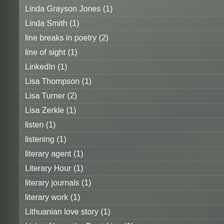Linda Grayson Jones (1)
Linda Smith (1)
line breaks in poetry (2)
line of sight (1)
LinkedIn (1)
Lisa Thompson (1)
Lisa Turner (2)
Lisa Zerkle (1)
listen (1)
listening (1)
literary agent (1)
Literary Hour (1)
literary journals (1)
literary work (1)
Lithuanian love story (1)
Living Above the Frost Line (1)
local book store (1)
Lois Council (2)
losing a loved one (1)